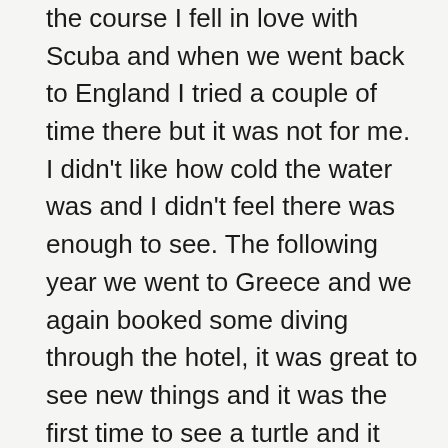the course I fell in love with Scuba and when we went back to England I tried a couple of time there but it was not for me. I didn't like how cold the water was and I didn't feel there was enough to see. The following year we went to Greece and we again booked some diving through the hotel, it was great to see new things and it was the first time to see a turtle and it made my heart melt. It also made me realise why I really liked Scuba Diving so I started to do a little more research about it and the best places to go.